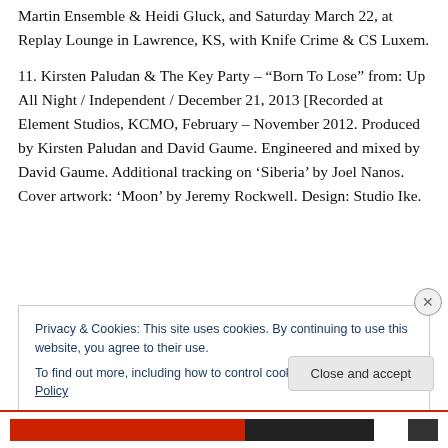Martin Ensemble & Heidi Gluck, and Saturday March 22, at Replay Lounge in Lawrence, KS, with Knife Crime & CS Luxem.
11. Kirsten Paludan & The Key Party – "Born To Lose" from: Up All Night / Independent / December 21, 2013 [Recorded at Element Studios, KCMO, February – November 2012. Produced by Kirsten Paludan and David Gaume. Engineered and mixed by David Gaume. Additional tracking on 'Siberia' by Joel Nanos. Cover artwork: 'Moon' by Jeremy Rockwell. Design: Studio Ike.
Privacy & Cookies: This site uses cookies. By continuing to use this website, you agree to their use.
To find out more, including how to control cookies, see here: Cookie Policy